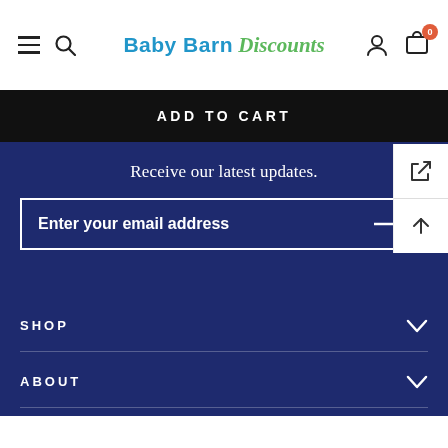[Figure (logo): Baby Barn Discounts logo with navigation icons (hamburger menu, search, user profile, cart with badge showing 0)]
ADD TO CART
Receive our latest updates.
Enter your email address
SHOP
ABOUT